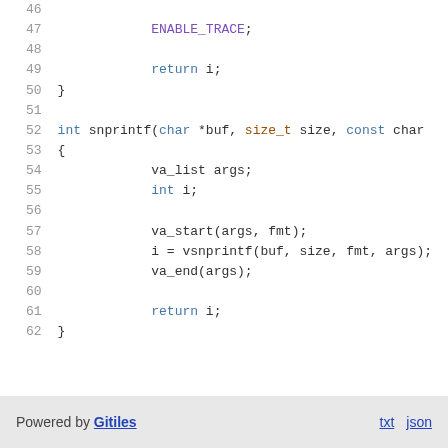[Figure (screenshot): Source code viewer showing lines 46-62 of a C file with syntax highlighting. Lines shown: 46 (blank), 47: ENABLE_TRACE;, 48 (blank), 49: return i;, 50: }, 51 (blank), 52: int snprintf(char *buf, size_t size, const char..., 53: {, 54: va_list args;, 55: int i;, 56 (blank), 57: va_start(args, fmt);, 58: i = vsnprintf(buf, size, fmt, args);, 59: va_end(args);, 60 (blank), 61: return i;, 62: }]
Powered by Gitiles   txt   json